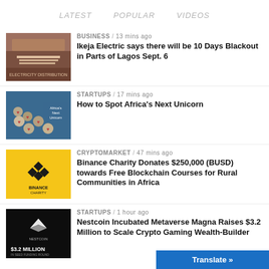LATEST   POPULAR   VIDEOS
BUSINESS / 13 mins ago
Ikeja Electric says there will be 10 Days Blackout in Parts of Lagos Sept. 6
STARTUPS / 17 mins ago
How to Spot Africa's Next Unicorn
CRYPTOMARKET / 47 mins ago
Binance Charity Donates $250,000 (BUSD) towards Free Blockchain Courses for Rural Communities in Africa
STARTUPS / 1 hour ago
Nestcoin Incubated Metaverse Magna Raises $3.2 Million to Scale Crypto Gaming Wealth-Builder
Translate »